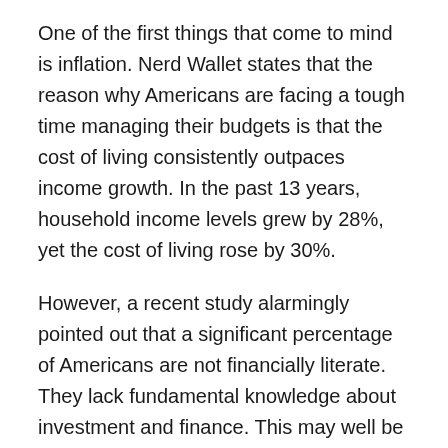One of the first things that come to mind is inflation. Nerd Wallet states that the reason why Americans are facing a tough time managing their budgets is that the cost of living consistently outpaces income growth. In the past 13 years, household income levels grew by 28%, yet the cost of living rose by 30%.
However, a recent study alarmingly pointed out that a significant percentage of Americans are not financially literate. They lack fundamental knowledge about investment and finance. This may well be the reason behind a steadily growing consumer debt.
What Are Your Choices?
When faced with insufficient funds to make the necessary